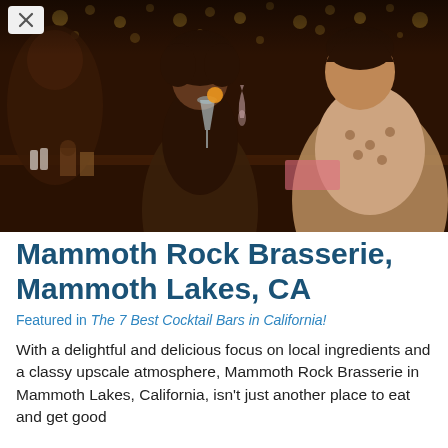[Figure (photo): Three women smiling and clinking cocktail glasses at a bar with warm bokeh string lights in the background. Dark, atmospheric bar setting.]
Mammoth Rock Brasserie, Mammoth Lakes, CA
Featured in The 7 Best Cocktail Bars in California!
With a delightful and delicious focus on local ingredients and a classy upscale atmosphere, Mammoth Rock Brasserie in Mammoth Lakes, California, isn't just another place to eat and get good